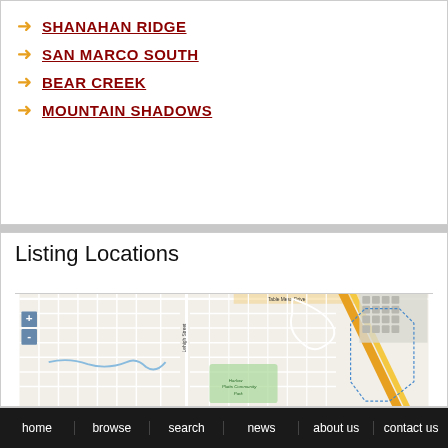SHANAHAN RIDGE
SAN MARCO SOUTH
BEAR CREEK
MOUNTAIN SHADOWS
Listing Locations
[Figure (map): Street map showing residential neighborhood with Lehigh Street, Table Mesa Drive, Harlow Platts Community Park, zoom controls (+/-), and dotted boundary lines marking neighborhood areas.]
home  browse  search  news  about us  contact us